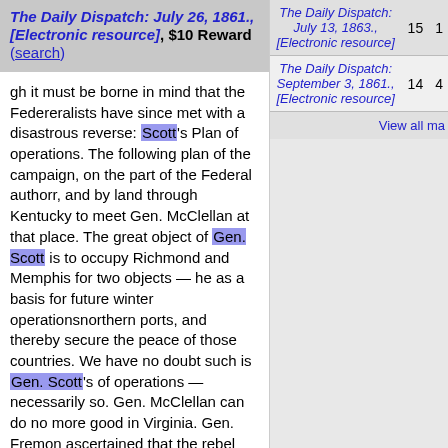The Daily Dispatch: July 26, 1861., [Electronic resource], $10 Reward (search)
gh it must be borne in mind that the Federeralists have since met with a disastrous reverse: Scott's Plan of operations. The following plan of the campaign, on the part of the Federal authorr, and by land through Kentucky to meet Gen. McClellan at that place. The great object of Gen. Scott is to occupy Richmond and Memphis for two objects — he as a basis for future winter operationsnorthern ports, and thereby secure the peace of those countries. We have no doubt such is Gen. Scott's of operations — necessarily so. Gen. McClellan can do no more good in Virginia. Gen. Fremon ascertained that the rebel forces number about thirty-eight thousand in and about Manassas. Gen. Scott received this information to-day, and was asked by a member of Congress what was the strength f the Union force? "It is enough," was the iconic reply of the General. Turning the subject, Gen. Scott went on to pay Congress a compliment for the handsome and prompt manner in which it had voted
| Title |  |  |
| --- | --- | --- |
| The Daily Dispatch: July 13, 1863., [Electronic resource] | 15 | 1 |
| The Daily Dispatch: September 3, 1861., [Electronic resource] | 14 | 4 |
View all ma